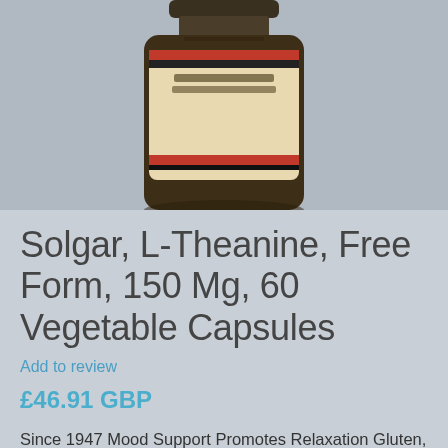[Figure (photo): Bottom portion of a Solgar supplement bottle — dark amber glass bottle with label showing '60 Vegetable Capsules' and 'Dietary Supplement', with red and black decorative bands, photographed against a grey background.]
Solgar, L-Theanine, Free Form, 150 Mg, 60 Vegetable Capsules
Add to review
£46.91 GBP
Since 1947 Mood Support Promotes Relaxation Gluten, Wheat & Dairy Free Non-GMO Suitable for Vegetarians Kosher Parve Dietary Supplement L-Theanine is an amino acid which is commonly found in